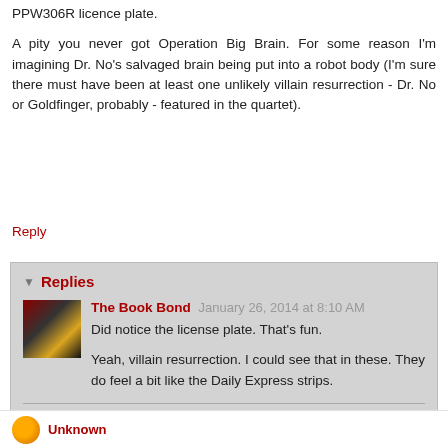PPW306R licence plate.
A pity you never got Operation Big Brain. For some reason I'm imagining Dr. No's salvaged brain being put into a robot body (I'm sure there must have been at least one unlikely villain resurrection - Dr. No or Goldfinger, probably - featured in the quartet).
Reply
Replies
The Book Bond  January 26, 2014 at 8:10 AM
Did notice the license plate. That's fun.
Yeah, villain resurrection. I could see that in these. They do feel a bit like the Daily Express strips.
Reply